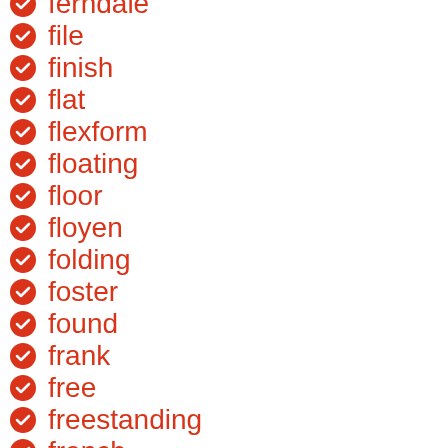ferndale
file
finish
flat
flexform
floating
floor
floyen
folding
foster
found
frank
free
freestanding
french
furniture
fusion
garage
garden